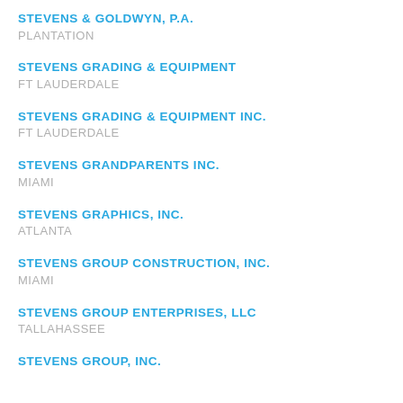STEVENS & GOLDWYN, P.A.
PLANTATION
STEVENS GRADING & EQUIPMENT
FT LAUDERDALE
STEVENS GRADING & EQUIPMENT INC.
FT LAUDERDALE
STEVENS GRANDPARENTS INC.
MIAMI
STEVENS GRAPHICS, INC.
ATLANTA
STEVENS GROUP CONSTRUCTION, INC.
MIAMI
STEVENS GROUP ENTERPRISES, LLC
TALLAHASSEE
STEVENS GROUP, INC.